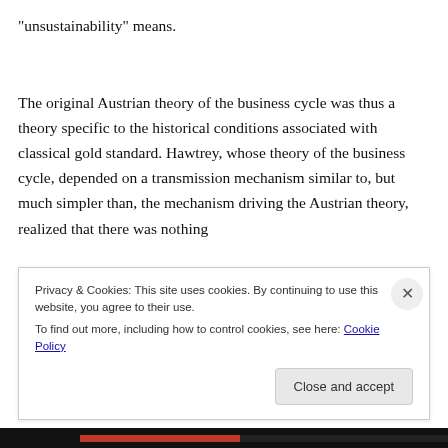“unsustainability” means.
The original Austrian theory of the business cycle was thus a theory specific to the historical conditions associated with classical gold standard. Hawtrey, whose theory of the business cycle, depended on a transmission mechanism similar to, but much simpler than, the mechanism driving the Austrian theory, realized that there was nothing
Privacy & Cookies: This site uses cookies. By continuing to use this website, you agree to their use.
To find out more, including how to control cookies, see here: Cookie Policy